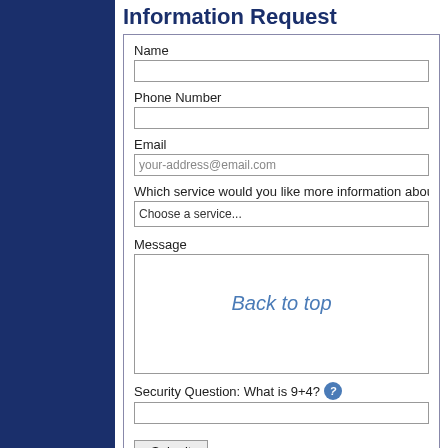Information Request
Name
Phone Number
Email
Which service would you like more information about?
Message
Back to top
Security Question: What is 9+4?
Submit